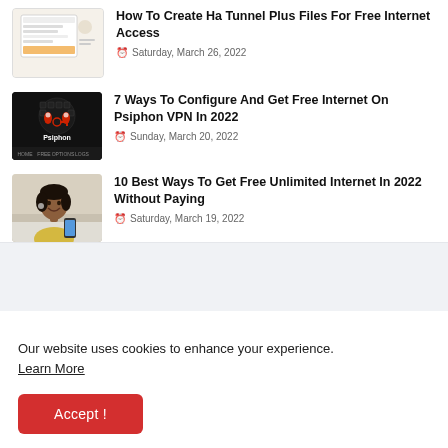[Figure (screenshot): Thumbnail image of a mobile app interface with orange and white UI elements]
How To Create Ha Tunnel Plus Files For Free Internet Access
Saturday, March 26, 2022
[Figure (screenshot): Thumbnail of Psiphon VPN app interface with dark background and red/white logo with key icon]
7 Ways To Configure And Get Free Internet On Psiphon VPN In 2022
Sunday, March 20, 2022
[Figure (photo): Photo of a smiling Black woman wearing a yellow sweater using a smartphone]
10 Best Ways To Get Free Unlimited Internet In 2022 Without Paying
Saturday, March 19, 2022
Our website uses cookies to enhance your experience. Learn More
Accept !